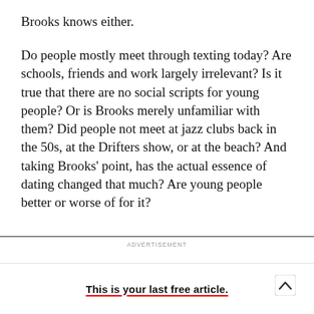Brooks knows either.
Do people mostly meet through texting today? Are schools, friends and work largely irrelevant? Is it true that there are no social scripts for young people? Or is Brooks merely unfamiliar with them? Did people not meet at jazz clubs back in the 50s, at the Drifters show, or at the beach? And taking Brooks' point, has the actual essence of dating changed that much? Are young people better or worse of for it?
ADVERTISEMENT
This is your last free article.